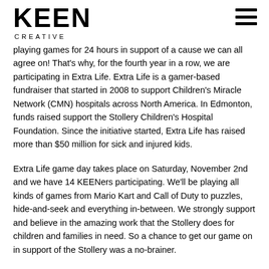KEEN CREATIVE
playing games for 24 hours in support of a cause we can all agree on! That's why, for the fourth year in a row, we are participating in Extra Life. Extra Life is a gamer-based fundraiser that started in 2008 to support Children's Miracle Network (CMN) hospitals across North America. In Edmonton, funds raised support the Stollery Children's Hospital Foundation. Since the initiative started, Extra Life has raised more than $50 million for sick and injured kids.
Extra Life game day takes place on Saturday, November 2nd and we have 14 KEENers participating. We'll be playing all kinds of games from Mario Kart and Call of Duty to puzzles, hide-and-seek and everything in-between. We strongly support and believe in the amazing work that the Stollery does for children and families in need. So a chance to get our game on in support of the Stollery was a no-brainer.
Last year, we used an 80s gamer theme throughout our website, headshots and graphics. This year, we're still keeping